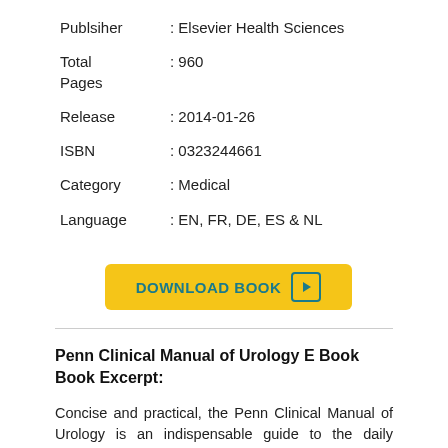Publsiher : Elsevier Health Sciences
Total Pages : 960
Release : 2014-01-26
ISBN : 0323244661
Category : Medical
Language : EN, FR, DE, ES & NL
[Figure (other): Yellow download button with text DOWNLOAD BOOK and a play icon]
Penn Clinical Manual of Urology E Book Book Excerpt:
Concise and practical, the Penn Clinical Manual of Urology is an indispensable guide to the daily practice of urology. This one volume medical